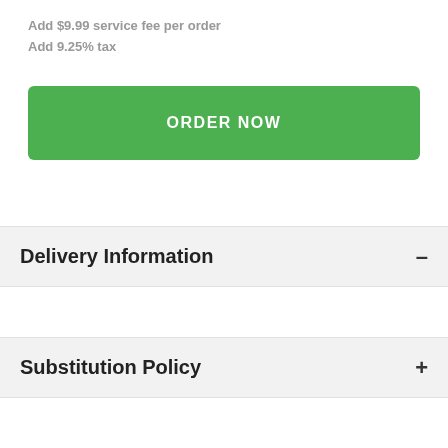Add $9.99 service fee per order
Add 9.25% tax
ORDER NOW
Delivery Information
Substitution Policy